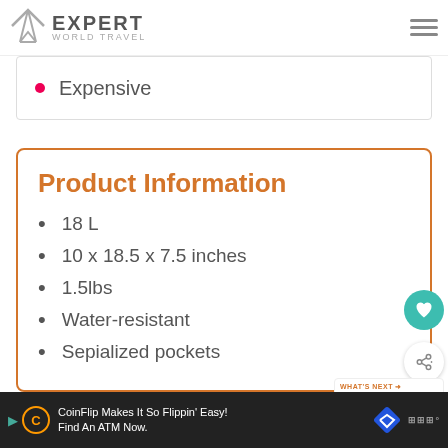EXPERT WORLD TRAVEL
Expensive
Product Information
18 L
10 x 18.5 x 7.5 inches
1.5lbs
Water-resistant
Sepialized pockets
CoinFlip Makes It So Flippin' Easy! Find An ATM Now.